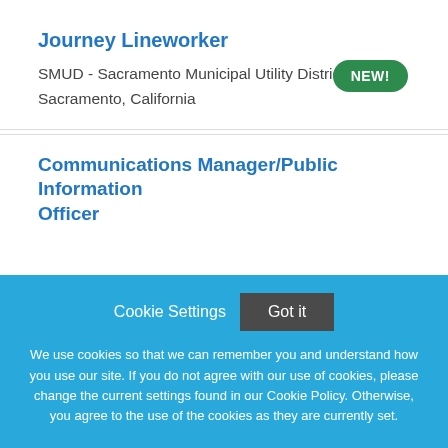Journey Lineworker
SMUD - Sacramento Municipal Utility District
Sacramento, California
Communications Manager/Public Information Officer
Cookie Settings   Got it
We use cookies so that we can remember you and understand how you use our site. If you do not agree with our use of cookies, please change the current settings found in our Cookie Policy. Otherwise, you agree to the use of the cookies as they are currently set.